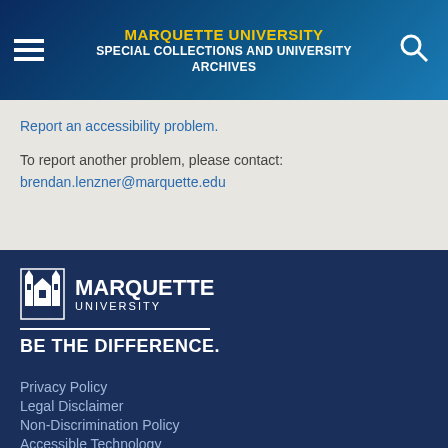MARQUETTE UNIVERSITY SPECIAL COLLECTIONS AND UNIVERSITY ARCHIVES
Report an accessibility problem.
To report another problem, please contact:
brendan.lenzner@marquette.edu
[Figure (logo): Marquette University logo with church tower icon and tagline BE THE DIFFERENCE.]
Privacy Policy
Legal Disclaimer
Non-Discrimination Policy
Accessible Technology
© 2022 Marquette University